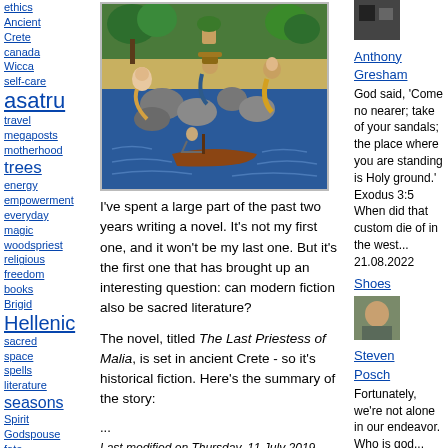ethics
Ancient Crete
canada
Wicca
self-care
asatru
travel
megaposts
motherhood
trees
energy empowerment
everyday magic
woodspriestess
religious freedom
books
Brigid
Hellenic
sacred space
spells
literature
seasons
Spirit
Godspouse
fate
kitchen witch
god of the witches
halloween
hearth
Sweetwood
[Figure (illustration): Ancient Minoan/Cretan style mural painting showing figures near water, boats, and foliage]
I've spent a large part of the past two years writing a novel. It's not my first one, and it won't be my last one. But it's the first one that has brought up an interesting question: can modern fiction also be sacred literature?
The novel, titled The Last Priestess of Malia, is set in ancient Crete - so it's historical fiction. Here's the summary of the story:
...
Last modified on Thursday, 11 July 2019
[Figure (photo): Small thumbnail photo - dark image]
Anthony Gresham
God said, 'Come no nearer; take of your sandals; the place where you are standing is Holy ground.' Exodus 3:5 When did that custom die of in the west... 21.08.2022
Shoes
[Figure (photo): Small thumbnail photo of a person]
Steven Posch
Fortunately, we're not alone in our endeavor. Who is god...